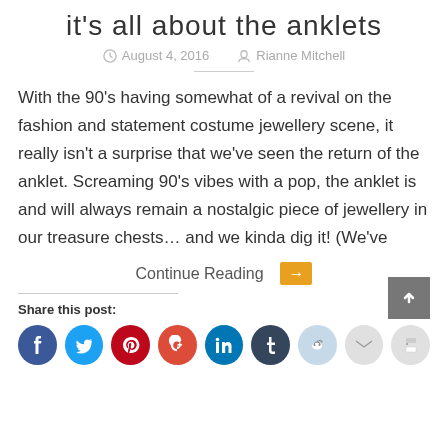it's all about the anklets
August 4, 2016   Rianne Mitchell
With the 90's having somewhat of a revival on the fashion and statement costume jewellery scene, it really isn't a surprise that we've seen the return of the anklet. Screaming 90's vibes with a pop, the anklet is and will always remain a nostalgic piece of jewellery in our treasure chests… and we kinda dig it! (We've
Continue Reading →
Share this post:
[Figure (infographic): Row of social media sharing icons: Facebook (blue), Twitter (light blue), Pinterest (red), Google+ (orange-red), LinkedIn (teal), Tumblr (dark navy), Reddit (light blue), Email (light gray), Print (light gray). Back-to-top button (gray square with up chevron) at top right of this section.]